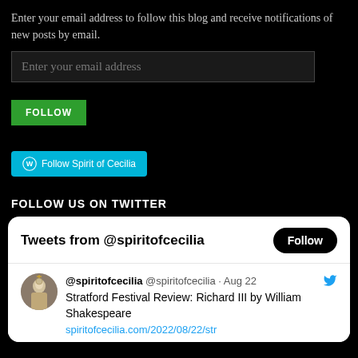Enter your email address to follow this blog and receive notifications of new posts by email.
[Figure (screenshot): Email input field with placeholder text 'Enter your email address']
[Figure (screenshot): Green FOLLOW button]
[Figure (screenshot): WordPress Follow Spirit of Cecilia button in cyan]
FOLLOW US ON TWITTER
[Figure (screenshot): Twitter widget showing 'Tweets from @spiritofcecilia' with a Follow button and a tweet from @spiritofcecilia dated Aug 22 about Stratford Festival Review: Richard III by William Shakespeare, with a profile avatar showing a religious figure.]